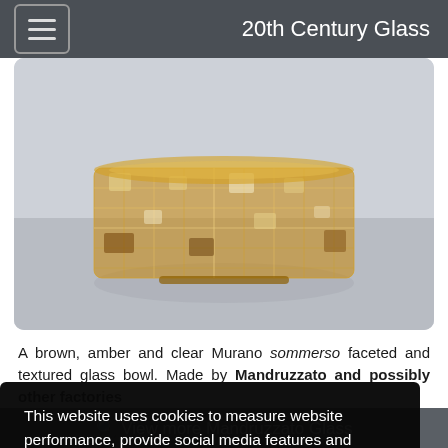20th Century Glass
[Figure (photo): A brown, amber and clear Murano sommerso faceted and textured glass bowl, partially visible, photographed against a light grey/white background.]
A brown, amber and clear Murano sommerso faceted and textured glass bowl. Made by Mandruzzato and possibly other factories
This website uses cookies to measure website performance, provide social media features and personalise content and ads. Learn more
Got it!
View more Mandruzzato Glass